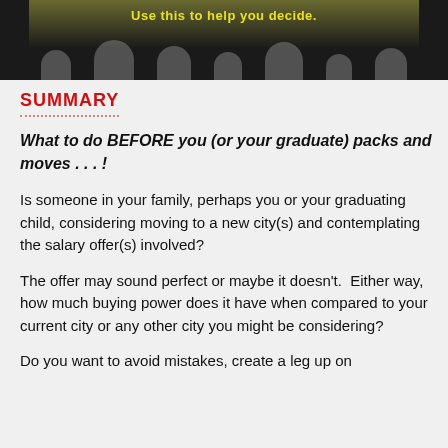[Figure (screenshot): Dark screenshot showing text 'Use this to help you decide.' in yellow on a dark olive/black background with silhouetted figures at the bottom]
SUMMARY
What to do BEFORE you (or your graduate) packs and moves . . . !
Is someone in your family, perhaps you or your graduating child, considering moving to a new city(s) and contemplating the salary offer(s) involved?
The offer may sound perfect or maybe it doesn't.  Either way, how much buying power does it have when compared to your current city or any other city you might be considering?
Do you want to avoid mistakes, create a leg up on